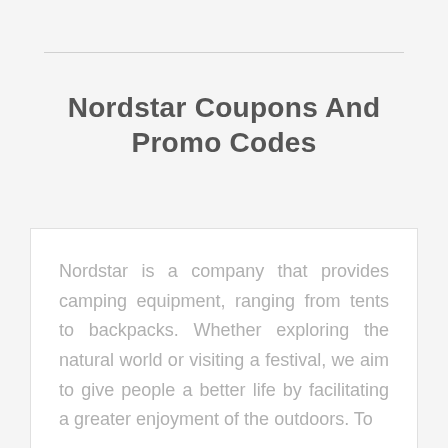Nordstar Coupons And Promo Codes
Nordstar is a company that provides camping equipment, ranging from tents to backpacks. Whether exploring the natural world or visiting a festival, we aim to give people a better life by facilitating a greater enjoyment of the outdoors. To...